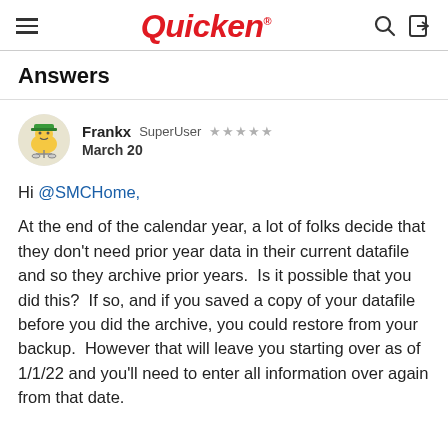Quicken
Answers
Frankx SuperUser ★★★★★ March 20
Hi @SMCHome,

At the end of the calendar year, a lot of folks decide that they don't need prior year data in their current datafile and so they archive prior years.  Is it possible that you did this?  If so, and if you saved a copy of your datafile before you did the archive, you could restore from your backup.  However that will leave you starting over as of 1/1/22 and you'll need to enter all information over again from that date.